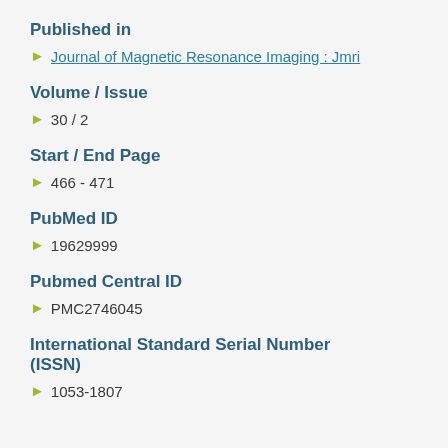Published in
Journal of Magnetic Resonance Imaging : Jmri
Volume / Issue
30 / 2
Start / End Page
466 - 471
PubMed ID
19629999
Pubmed Central ID
PMC2746045
International Standard Serial Number (ISSN)
1053-1807